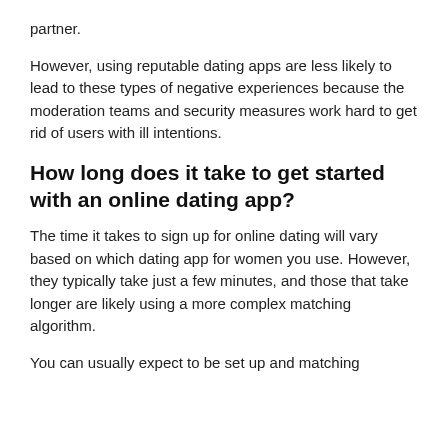partner.
However, using reputable dating apps are less likely to lead to these types of negative experiences because the moderation teams and security measures work hard to get rid of users with ill intentions.
How long does it take to get started with an online dating app?
The time it takes to sign up for online dating will vary based on which dating app for women you use. However, they typically take just a few minutes, and those that take longer are likely using a more complex matching algorithm.
You can usually expect to be set up and matching